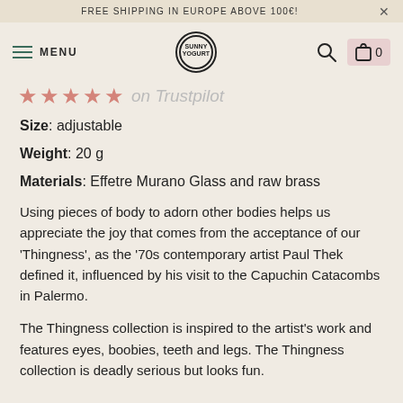FREE SHIPPING IN EUROPE ABOVE 100€!
[Figure (logo): Sunny Yogurt brand logo in circular design, navigation bar with menu, search and bag icons]
on Trustpilot (with star rating icons)
Size: adjustable
Weight: 20 g
Materials: Effetre Murano Glass and raw brass
Using pieces of body to adorn other bodies helps us appreciate the joy that comes from the acceptance of our 'Thingness', as the '70s contemporary artist Paul Thek defined it, influenced by his visit to the Capuchin Catacombs in Palermo.
The Thingness collection is inspired to the artist's work and features eyes, boobies, teeth and legs. The Thingness collection is deadly serious but looks fun.